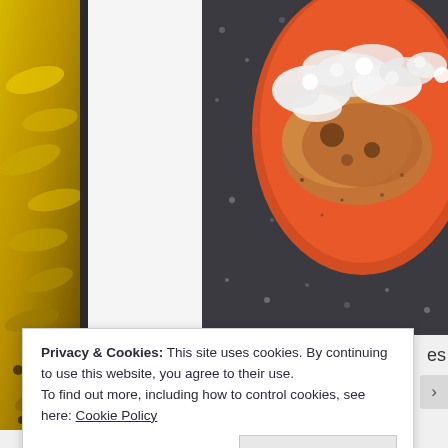[Figure (photo): Left strip showing yellow bananas, partially cropped, with a dark vertical divider to the right.]
[Figure (photo): Food photo showing an orange/red plate with pancakes or similar dish topped with white crumbled topping (possibly coconut or cheese), on a dark speckled surface. Viewed from above.]
Privacy & Cookies: This site uses cookies. By continuing to use this website, you agree to their use.
To find out more, including how to control cookies, see here: Cookie Policy
Close and accept